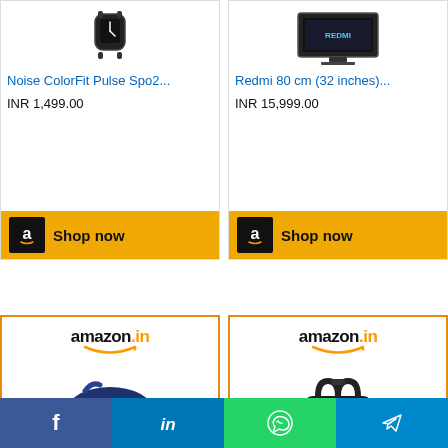[Figure (screenshot): Amazon product card for Noise ColorFit Pulse Spo2 smartwatch. Shows product image (black smartwatch), title in blue, price in INR 1,499.00, and a gold 'Shop now' button with Amazon logo.]
[Figure (screenshot): Amazon product card for Redmi 80 cm (32 inches) TV. Shows product image, title in blue, price INR 15,999.00, and a gold 'Shop now' button with Amazon logo.]
[Figure (screenshot): Amazon.in product card for M MEDLER Epoch Nylon duffel bag on wheels. Shows amazon.in logo, product image of navy blue duffle bag, and title in blue.]
[Figure (screenshot): Amazon.in product card for American Tourister 32... backpack. Shows amazon.in logo, product image of black backpack with yellow zipper, and title in blue.]
[Figure (infographic): Bottom navigation bar with four social media icons: Facebook (blue), LinkedIn (blue), WhatsApp (green), Telegram (light blue).]